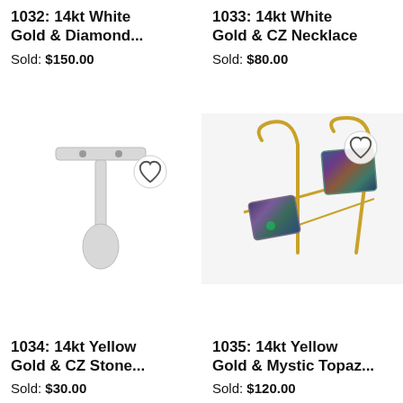1032: 14kt White Gold & Diamond...
Sold: $150.00
1033: 14kt White Gold & CZ Necklace
Sold: $80.00
[Figure (photo): A white earring display stand/holder on white background with a favorite/heart button overlay]
1034: 14kt Yellow Gold & CZ Stone...
Sold: $30.00
[Figure (photo): 14kt yellow gold earrings with mystic topaz rectangular stones on gold wire hooks, photographed on white background with a favorite/heart button overlay]
1035: 14kt Yellow Gold & Mystic Topaz...
Sold: $120.00